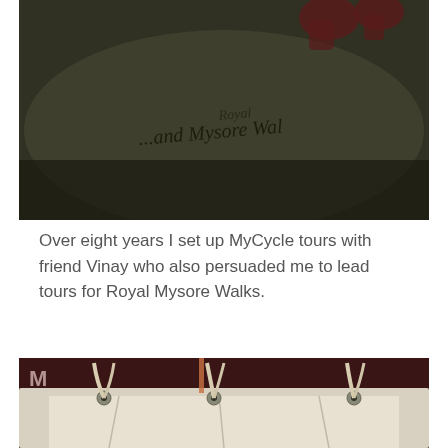[Figure (photo): Close-up dark photo of a fabric/cloth item with handwritten text reading 'Royal Mysore Walks' and decorative boot/shoe motifs visible at top]
Over eight years I set up MyCycle tours with friend Vinay who also persuaded me to lead tours for Royal Mysore Walks.
[Figure (photo): Close-up photo of a white fabric bag with metal grommets and drawstring cords, with a red background visible behind it showing the letter M]